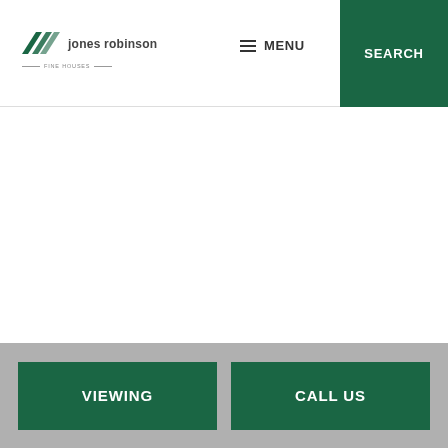[Figure (logo): Jones Robinson Fine Houses logo with two overlapping arrow/chevron marks in dark green and the text 'jones robinson' with tagline 'fine houses' below]
MENU
SEARCH
VIEWING
CALL US